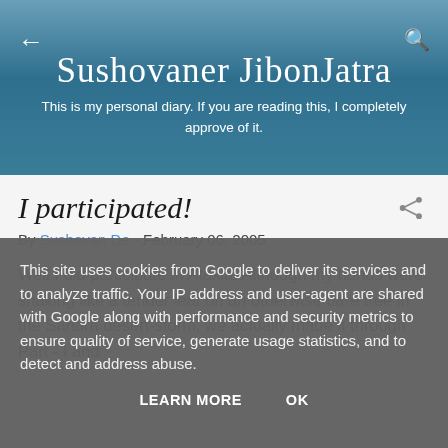Sushovaner JibonJatra
This is my personal diary. If you are reading this, I completely approve of it.
I participated!
By Sushovan De - February 06, 2005
Well I did participate in Ataxia. Although my hands were shaking like a tender leaf on an otherwise bare tree in the Sahara desert-storm, we actually made it through Part - I and
This site uses cookies from Google to deliver its services and to analyze traffic. Your IP address and user-agent are shared with Google along with performance and security metrics to ensure quality of service, generate usage statistics, and to detect and address abuse.
LEARN MORE    OK